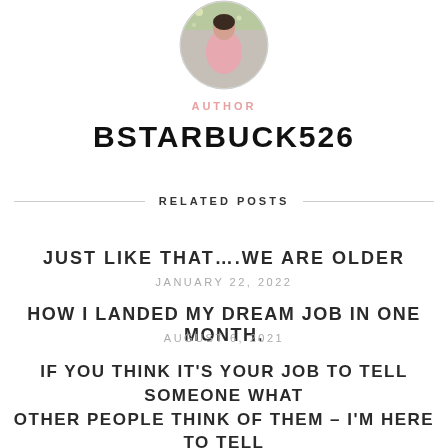[Figure (photo): Circular profile photo of a woman in a pink top standing outdoors]
AUTHOR
BSTARBUCK526
RELATED POSTS
JUST LIKE THAT….WE ARE OLDER
JANUARY 22, 2022
HOW I LANDED MY DREAM JOB IN ONE MONTH.
AUGUST 6, 2021
IF YOU THINK IT'S YOUR JOB TO TELL SOMEONE WHAT OTHER PEOPLE THINK OF THEM – I'M HERE TO TELL YOU, IT IS NOT.